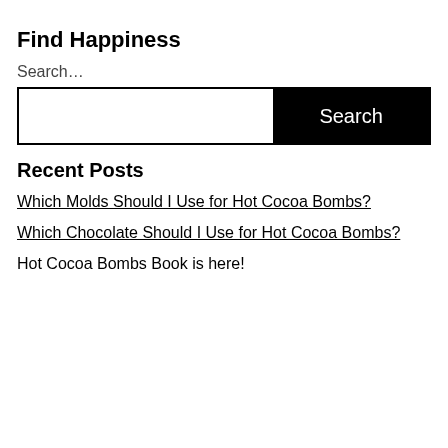Find Happiness
Search…
Search
Recent Posts
Which Molds Should I Use for Hot Cocoa Bombs?
Which Chocolate Should I Use for Hot Cocoa Bombs?
Hot Cocoa Bombs Book is here!